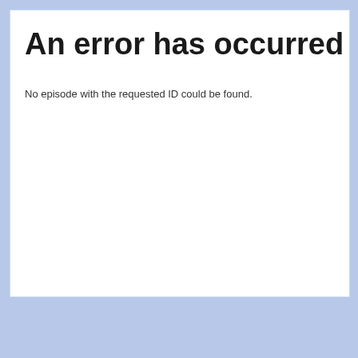An error has occurred
No episode with the requested ID could be found.
Click the link below to download the audio of the podcast:
itManageCast Episode 3 - The IT Service Transformation